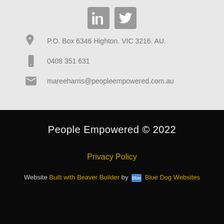[Figure (other): LinkedIn and Twitter social media icons (grey rounded square buttons)]
P.O. Box 6346 Highton. VIC 3216. AU.
0408 351 631
mareeharris@peopleempowered.com.au
People Empowered © 2022
Privacy Policy
Website Built with Beaver Builder by Blue Dog Websites